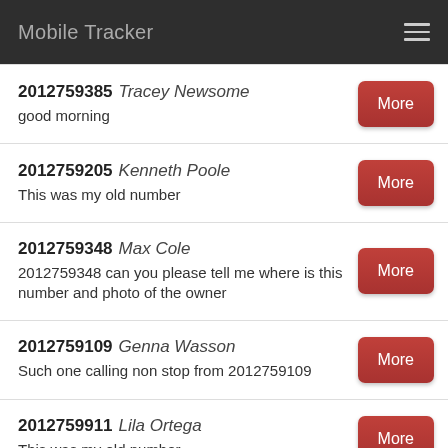Mobile Tracker
2012759385 Tracey Newsome
good morning
2012759205 Kenneth Poole
This was my old number
2012759348 Max Cole
2012759348 can you please tell me where is this number and photo of the owner
2012759109 Genna Wasson
Such one calling non stop from 2012759109
2012759911 Lila Ortega
This was my old number